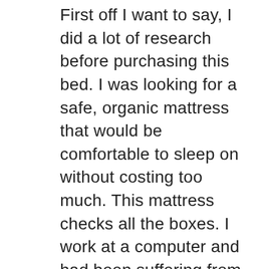First off I want to say, I did a lot of research before purchasing this bed. I was looking for a safe, organic mattress that would be comfortable to sleep on without costing too much. This mattress checks all the boxes. I work at a computer and had been suffering from neck and lower back pain for years and it is completely gone with this mattress.Read more about First off I want to say, I did a lot The natural latex pillows which we also purchased, might also have contributed to the neck pain alleviation. I am very sensitive to smells, and I love that the pillows and mattress do not have any chemical off putting smell. I lay down and fall completely asleep. Cannot say enough how much I love it. Would definitely recommend to anyone who is looking for a comfortable safe mattress.